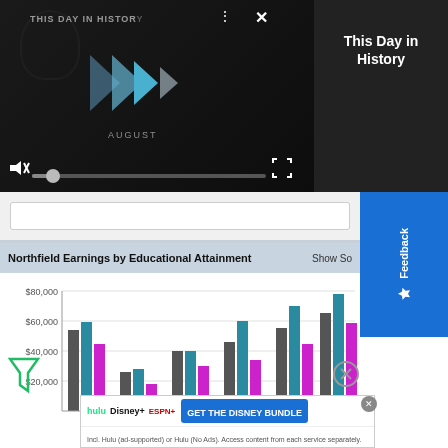[Figure (screenshot): Video player showing 'This Day in History' NFL video, paused with play button visible, mute icon, progress bar, and fullscreen button. Dark background with 'AUGUST' text visible.]
This Day in History
Northfield Earnings by Educational Attainment
[Figure (bar-chart): Grouped bar chart showing earnings by educational attainment with three series (gray, teal/blue, magenta). Y-axis shows $20,000 to $80,000.]
[Figure (screenshot): Disney Bundle advertisement: Hulu, Disney+, ESPN+ logos. 'GET THE DISNEY BUNDLE' button. Text: 'Incl. Hulu (ad-supported) or Hulu (No Ads). Access content from each service separately. ©2021 Disney and its related entities']